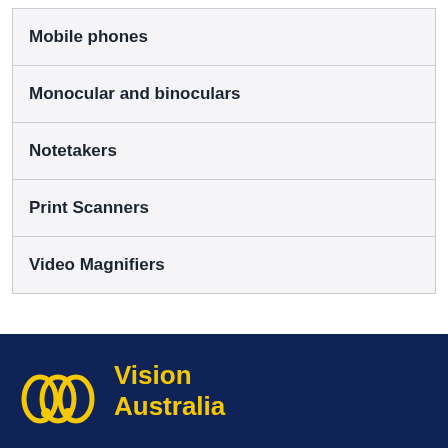Mobile phones
Monocular and binoculars
Notetakers
Print Scanners
Video Magnifiers
Top ↑
[Figure (logo): Vision Australia logo — yellow interlocking loops on dark navy background with yellow text 'Vision Australia']